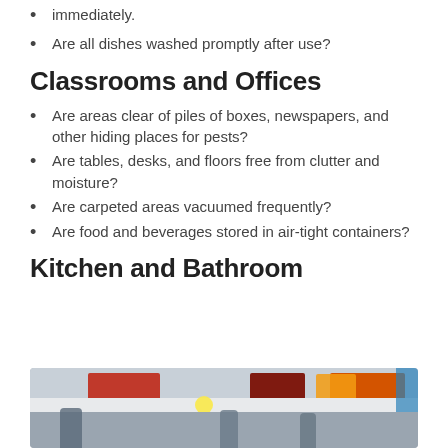immediately.
Are all dishes washed promptly after use?
Classrooms and Offices
Are areas clear of piles of boxes, newspapers, and other hiding places for pests?
Are tables, desks, and floors free from clutter and moisture?
Are carpeted areas vacuumed frequently?
Are food and beverages stored in air-tight containers?
Kitchen and Bathroom
[Figure (photo): Blurred photo of a kitchen or cafeteria interior with red and orange cabinets, bright lighting, and people in the background]